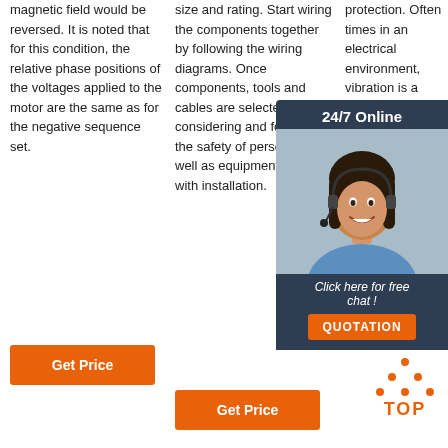magnetic field would be reversed. It is noted that for this condition, the relative phase positions of the voltages applied to the motor are the same as for the negative sequence set.
Get Price
size and rating. Start wiring the components together by following the wiring diagrams. Once components, tools and cables are selected, by considering and following the safety of personnel as well as equipment, proceed with installation.
Get Price
protection. Often times in an electrical environment, vibration is a serious can ca termina loose .
Get
[Figure (infographic): Chat widget with dark navy background, '24/7 Online' header, photo of smiling woman with headset, text 'Click here for free chat!', and orange QUOTATION button.]
[Figure (other): Orange TOP badge with dots forming triangle above the word TOP in orange bold letters.]